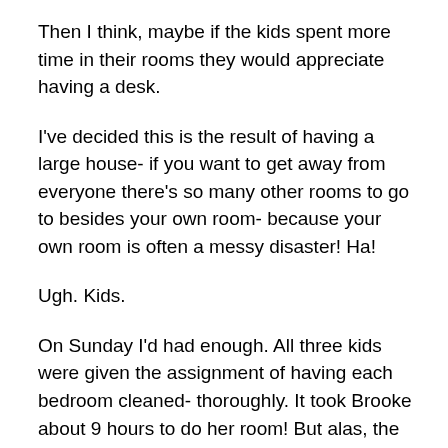Then I think, maybe if the kids spent more time in their rooms they would appreciate having a desk.
I've decided this is the result of having a large house- if you want to get away from everyone there's so many other rooms to go to besides your own room- because your own room is often a messy disaster!  Ha!
Ugh.  Kids.
On Sunday I'd had enough.  All three kids were given the assignment of having each bedroom cleaned- thoroughly.  It took Brooke about 9 hours to do her room!  But alas, the rooms are now “clean”.  Er, “clear”.